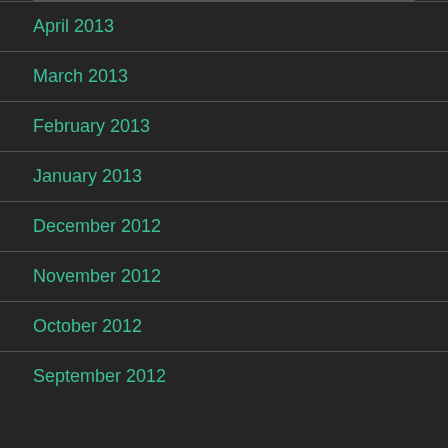April 2013
March 2013
February 2013
January 2013
December 2012
November 2012
October 2012
September 2012